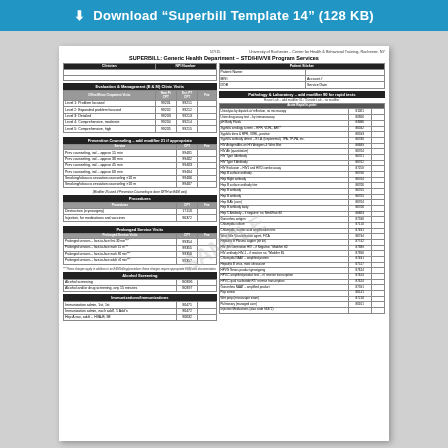⬇ Download "Superbill Template 14" (128 KB)
5/7/15    University of Rochester – Center for Health & Behavioral Training, Rochester, NY
SUPERBILL: Generic Health Department – STD/HIV/VII Program Services
| Clinician | NPI Number | Patient Sticker |
| --- | --- | --- |
| Patient Name: |  |  |
| MR# |  | Account # |
| DOB |  | Service Date |
Evaluation & Management (E & M) Clinic Visits
| Office/Minor Outpatient Visits | New Pt CPT | Est. PT CPT | Fee |
| --- | --- | --- | --- |
| Level 1: Problem focused | 99201 | 99211 |  |
| Level 2: Expanded problem focused | 99202 | 99212 |  |
| Level 3: Detailed | 99203 | 99213 |  |
| Level 4: Comprehensive, moderate | 99204 | 99214 |  |
| Level 5: Comprehensive, high | 99205 | 99215 |  |
Prevention Counseling – add modifier 21 if appropriate
| Service | CPT | Fee |
| --- | --- | --- |
| Prev counseling, ind – approx 15 min | 99401 |  |
| Prev counseling, ind – approx 30 min | 99402 |  |
| Prev counseling, ind – approx 45 min | 99403 |  |
| Prev counseling, ind – approx 60 min | 99404 |  |
| Smoking/tobacco cessation counseling <10 m | 99406 |  |
| Smoking/tobacco cessation counseling >10 m | 99407 |  |
(Modifier 25 used if Prevention Counseling is done WITH an E&M visit)
Procedures
| Procedures | CPT | Fee |
| --- | --- | --- |
| Destruction (cryosurgery) | 17110 |  |
| Injection, for medications and vaccines | 96372 |  |
Prolonged Service Visits
| Prolonged Service Visits | CPT | Fee |
| --- | --- | --- |
| Prolonged services – face-to-face first 30 minutes*** | 99354 |  |
| Prolonged services – face-to-face each 15 m*** | 99355 |  |
| Prolonged services – face-to-face each 30 min*** | 99356 |  |
| Prolonged services – face-to-face adult >0 min*** | 99357 |  |
***These charges apply in addition to an E&M billing/procedure; these charges require appropriate E&M visit documentation
Alcohol Screening
| Alcohol screening | G0396 |  |
| Alcohol and/or drug screening, any 15 minutes | G0397 |  |
Immunizations/Immunizations
| Immunization admin, 1st, 1st | 90471 |  |
| Immunization admin, each add'l, 1 Add'n | 90472 |  |
| Hep A vax, adult – HVA-B, IM | 90632 |  |
Pathology & Laboratory – add modifier 90 for rapid tests
House Lab – add modifier 91 / Outside Lab – no modifier
| Acute Rapid In-point |
| --- |
| Urinalysis by dipstick w/ reflection, no microscopy | 81001 |  |
| Urine drug assay test – by immunoassay | 80306 |  |
| pH Body Fluids | 83986 |  |
| Syphilis serology screen – RPR, VDRL, ART* | 86592 |  |
| Syphilis titers & RPR, VDRL, positive | 86593 |  |
| Syphilis antibody detect – E.I.A. (treponemal), TPA, TP-PA, etc. | 86780 |  |
| HIV Antigen/Abs on HIV Antigens & West Blot | 86689 |  |
| HIV Ab (quantitative) | 86704 |  |
| HIV Type I Antibody | 86701 |  |
| HIV Type II Antibody | 86702 |  |
| HIV Exclusion – HIV1 and HIV2 combo assay | 87259 |  |
| Hep B surface antibody | 86706 |  |
| Hep B Ab t Antibody | 86704 |  |
| Hep B surface antibody titer | 86706 |  |
| Hep B antibody | 86705 |  |
| Hep B antibody | 86705 |  |
| Hep B Ab (core) | 86704 |  |
| Hep B antibody body | 86708 |  |
| Hep C Antibody – if negative: no, MedWise 80 | 86803 |  |
| Gonorrhea antigen | 87590 |  |
| Chlamydia culture | 87110 |  |
| Chlamydia, nucleic acid amplification test | 87491 |  |
| West Nile Virus/infection agent, FICA | 86794 |  |
| Hepatitis B Plasma copper (alt kit) | 87742 |  |
| HIV 4th Generation HIV – if Negative, *Modifier 80 | 87389 |  |
| HIV antibody HIV-1 – if reactive no, *Moidifier BL | 87390 |  |
| Chlamydia NAAT – amplified protein | 87491 |  |
| Hepatitis B virus, most ultrasoune | 87517 |  |
| HPVG Genus product genotyping | 87624 |  |
| HPV-C amplified product test – rt reverse transcription | 87624 |  |
| HPV-C qual nucleotide RT reverse transcription | 87624 |  |
| Gonorrhea NAAT – amplified product | 87591 |  |
| Pap smear | 88141 |  |
| Wet prep (microscope exam) | 87210 |  |
| Pulmonary (managed care) | 80101 |  |
| Injection Medications (also code 96372) |